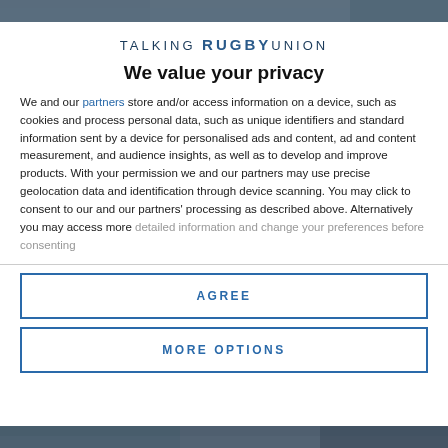[Figure (photo): Partial photo of rugby players or crowd at top of page]
TALKING RUGBY UNION
We value your privacy
We and our partners store and/or access information on a device, such as cookies and process personal data, such as unique identifiers and standard information sent by a device for personalised ads and content, ad and content measurement, and audience insights, as well as to develop and improve products. With your permission we and our partners may use precise geolocation data and identification through device scanning. You may click to consent to our and our partners' processing as described above. Alternatively you may access more detailed information and change your preferences before consenting
AGREE
MORE OPTIONS
[Figure (photo): Partial photo of rugby players or crowd at bottom of page]